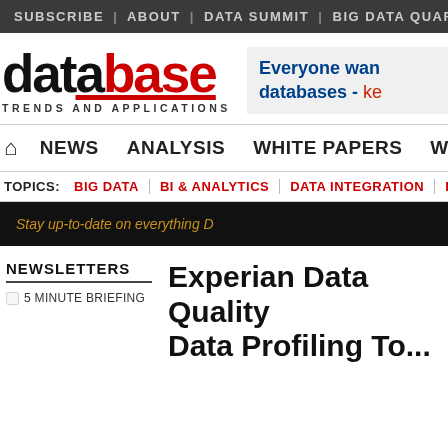SUBSCRIBE | ABOUT | DATA SUMMIT | BIG DATA QUARTER
[Figure (logo): Database Trends and Applications logo with red underline on 'database' text]
Everyone wants databases - ke
NEWS | ANALYSIS | WHITE PAPERS | WEBINARS
TOPICS: BIG DATA | BI & ANALYTICS | DATA INTEGRATION | DAT
Stay up-to-date on everything D
NEWSLETTERS
5 MINUTE BRIEFING
Experian Data Quality Data Profiling To...